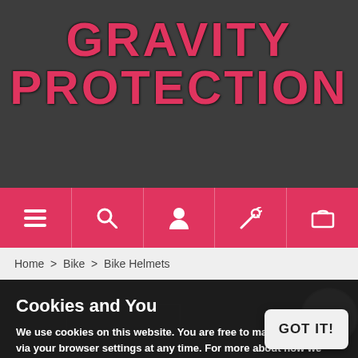GRAVITY PROTECTION
[Figure (screenshot): Navigation bar with menu, search, user, wishlist, and cart icons on pink background]
Home > Bike > Bike Helmets
[Figure (screenshot): Product listing area with NEW badge, partially visible, with dark background and helmet image]
Cookies and You
We use cookies on this website. You are free to manage these via your browser settings at any time. For more about how we use cookies, please see our Cookie Policy.